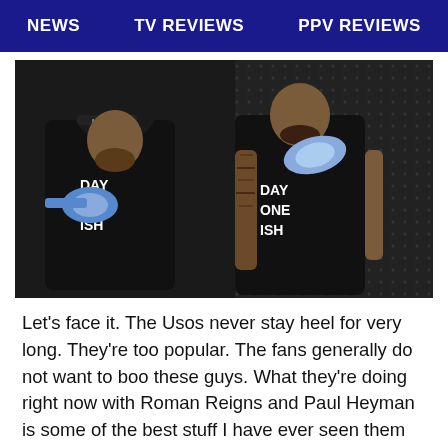NEWS   TV REVIEWS   PPV REVIEWS
[Figure (photo): Two wrestlers from The Usos tag team standing in front of a dark background. The one on the left wears a black hoodie with 'DAY ONE ISH' text and holds a blue championship belt. He also wears a black cap. The one on the right wears a black sleeveless shirt with 'DAY ONE ISH' text, has visible tattoos on his arms, and has a championship belt draped over his shoulder.]
Let's face it. The Usos never stay heel for very long. They're too popular. The fans generally do not want to boo these guys. What they're doing right now with Roman Reigns and Paul Heyman is some of the best stuff I have ever seen them do. To me, they're the best tag team in the business. Not just because of